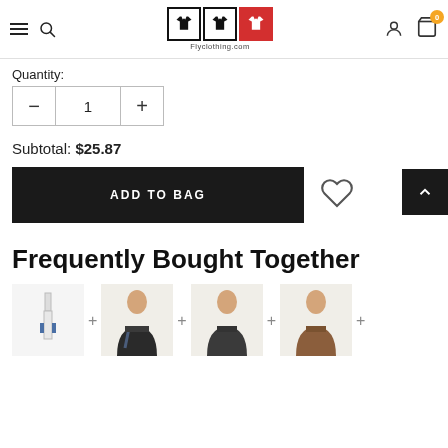Flyclothing.com navigation header with hamburger menu, search, logo, user icon, and cart (0)
Quantity:
Subtotal: $25.87
ADD TO BAG
Frequently Bought Together
[Figure (photo): Four product images shown in a row with plus signs between them, representing frequently bought together items: a hanger/clip product, and three men wearing different shirts]